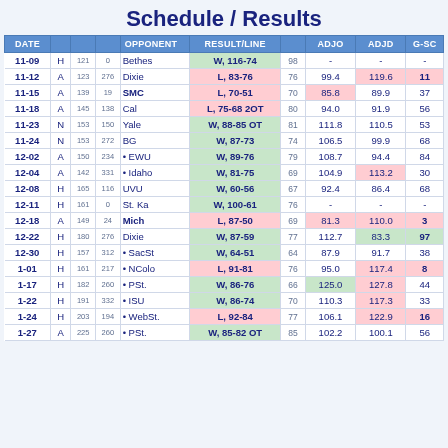Schedule / Results
| DATE |  |  |  | OPPONENT | RESULT/LINE |  | ADJO | ADJD | G-SC |
| --- | --- | --- | --- | --- | --- | --- | --- | --- | --- |
| 11-09 | H | 121 | 0 | Bethes | W, 116-74 | 98 | - | - | - |
| 11-12 | A | 123 | 276 | Dixie | L, 83-76 | 76 | 99.4 | 119.6 | 11 |
| 11-15 | A | 139 | 19 | SMC | L, 70-51 | 70 | 85.8 | 89.9 | 37 |
| 11-18 | A | 145 | 138 | Cal | L, 75-68 2OT | 80 | 94.0 | 91.9 | 56 |
| 11-23 | N | 153 | 150 | Yale | W, 88-85 OT | 81 | 111.8 | 110.5 | 53 |
| 11-24 | N | 153 | 272 | BG | W, 87-73 | 74 | 106.5 | 99.9 | 68 |
| 12-02 | A | 150 | 234 | • EWU | W, 89-76 | 79 | 108.7 | 94.4 | 84 |
| 12-04 | A | 142 | 331 | • Idaho | W, 81-75 | 69 | 104.9 | 113.2 | 30 |
| 12-08 | H | 165 | 116 | UVU | W, 60-56 | 67 | 92.4 | 86.4 | 68 |
| 12-11 | H | 161 | 0 | St. Ka | W, 100-61 | 76 | - | - | - |
| 12-18 | A | 149 | 24 | Mich | L, 87-50 | 69 | 81.3 | 110.0 | 3 |
| 12-22 | H | 180 | 276 | Dixie | W, 87-59 | 77 | 112.7 | 83.3 | 97 |
| 12-30 | H | 157 | 312 | • SacSt | W, 64-51 | 64 | 87.9 | 91.7 | 38 |
| 1-01 | H | 161 | 217 | • NColo | L, 91-81 | 76 | 95.0 | 117.4 | 8 |
| 1-17 | H | 182 | 260 | • PSt. | W, 86-76 | 66 | 125.0 | 127.8 | 44 |
| 1-22 | H | 191 | 332 | • ISU | W, 86-74 | 70 | 110.3 | 117.3 | 33 |
| 1-24 | H | 203 | 194 | • WebSt. | L, 92-84 | 77 | 106.1 | 122.9 | 16 |
| 1-27 | A | 225 | 260 | • PSt. | W, 85-82 OT | 85 | 102.2 | 100.1 | 56 |